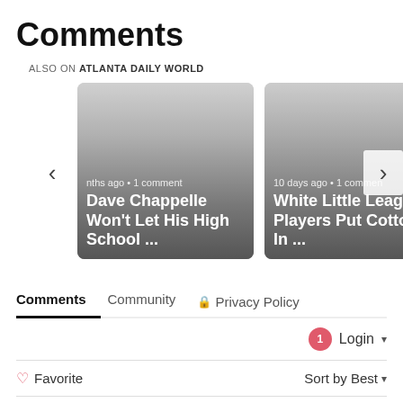Comments
ALSO ON ATLANTA DAILY WORLD
[Figure (screenshot): Two article card thumbnails in a carousel. Left card: '...nths ago • 1 comment' and 'Dave Chappelle Won't Let His High School ...' on dark gradient background. Right card: '10 days ago • 1 commen...' and 'White Little League Players Put Cotton In ...' on dark gradient background. Left nav arrow (<) and right nav arrow (>) on sides.]
Comments   Community   Privacy Policy
Login ▾
♡ Favorite
Sort by Best ▾